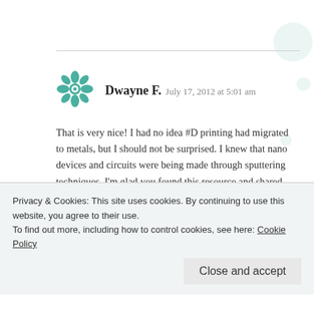Dwayne F.  July 17, 2012 at 5:01 am
That is very nice! I had no idea #D printing had migrated to metals, but I should not be surprised. I knew that nano devices and circuits were being made through sputtering techniques. I'm glad you found this resource and shared the process and results.

One bonus with Google Sketchup: the drawings can
Privacy & Cookies: This site uses cookies. By continuing to use this website, you agree to their use.
To find out more, including how to control cookies, see here: Cookie Policy
Close and accept